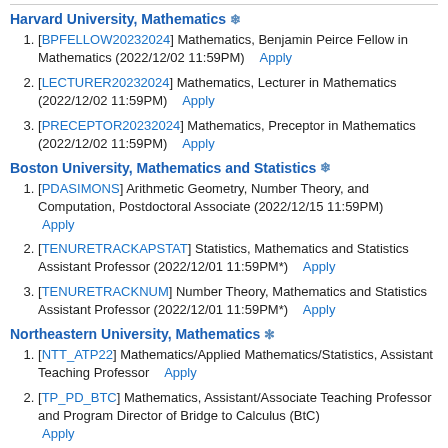Harvard University, Mathematics ❄
[BPFELLOW20232024] Mathematics, Benjamin Peirce Fellow in Mathematics (2022/12/02 11:59PM)   Apply
[LECTURER20232024] Mathematics, Lecturer in Mathematics (2022/12/02 11:59PM)   Apply
[PRECEPTOR20232024] Mathematics, Preceptor in Mathematics (2022/12/02 11:59PM)   Apply
Boston University, Mathematics and Statistics ❄
[PDASIMONS] Arithmetic Geometry, Number Theory, and Computation, Postdoctoral Associate (2022/12/15 11:59PM)   Apply
[TENURETRACKAPSTAT] Statistics, Mathematics and Statistics Assistant Professor (2022/12/01 11:59PM*)   Apply
[TENURETRACKNUM] Number Theory, Mathematics and Statistics Assistant Professor (2022/12/01 11:59PM*)   Apply
Northeastern University, Mathematics ✳
[NTT_ATP22] Mathematics/Applied Mathematics/Statistics, Assistant Teaching Professor   Apply
[TP_PD_BTC] Mathematics, Assistant/Associate Teaching Professor and Program Director of Bridge to Calculus (BtC)   Apply